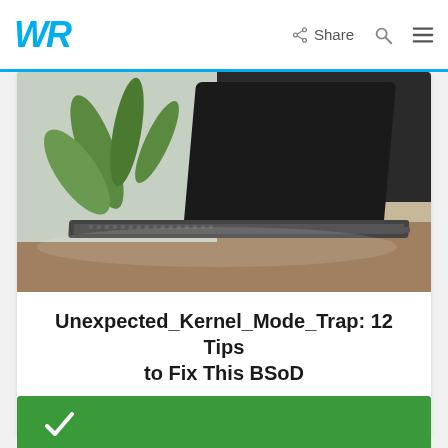WR | Share
[Figure (photo): Photo of an open laptop on a wooden desk with a green plant in the blurred background]
Unexpected_Kernel_Mode_Trap: 12 Tips to Fix This BSoD
by Ivan Jenic Errors
[Figure (photo): Partial green card visible at bottom of page]